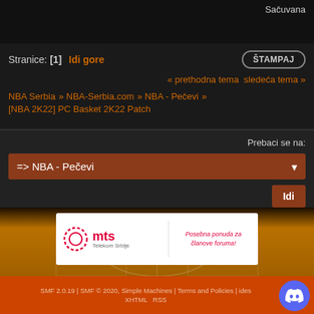Sačuvana
Stranice: [1]  Idi gore  ŠTAMPAJ
« prethodna tema  sledeća tema »
NBA Serbia » NBA-Serbia.com » NBA - Pečevi » [NBA 2K22] PC Basket 2K22 Patch
Prebaci se na: => NBA - Pečevi  Idi
[Figure (screenshot): Basketball court background with MTS Telekom Srbija advertisement banner]
SMF 2.0.19 | SMF © 2020, Simple Machines | Terms and Policies | ides... XHTML  RSS